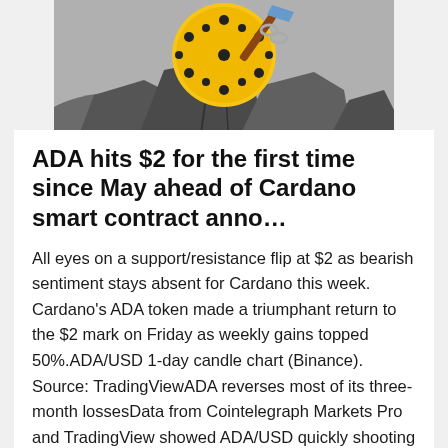[Figure (illustration): Illustration of a yellow Cardano coin breaking through rocks, with a pickaxe and chain]
ADA hits $2 for the first time since May ahead of Cardano smart contract anno…
All eyes on a support/resistance flip at $2 as bearish sentiment stays absent for Cardano this week. Cardano's ADA token made a triumphant return to the $2 mark on Friday as weekly gains topped 50%.ADA/USD 1-day candle chart (Binance). Source: TradingViewADA reverses most of its three-month lossesData from Cointelegraph Markets Pro and TradingView showed ADA/USD quickly shooting higher during Friday after overcoming heavy resistance. At the time of writing, the pair circled $2.07 and was continuing to climb, gaining $0.25 overnight. At $2.07, this marked ADA's highest price